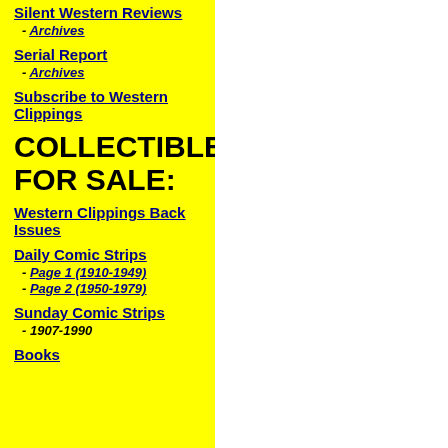Silent Western Reviews - Archives
Serial Report - Archives
Subscribe to Western Clippings
COLLECTIBLES FOR SALE:
Western Clippings Back Issues
Daily Comic Strips - Page 1 (1910-1949) - Page 2 (1950-1979)
Sunday Comic Strips - 1907-1990
Books